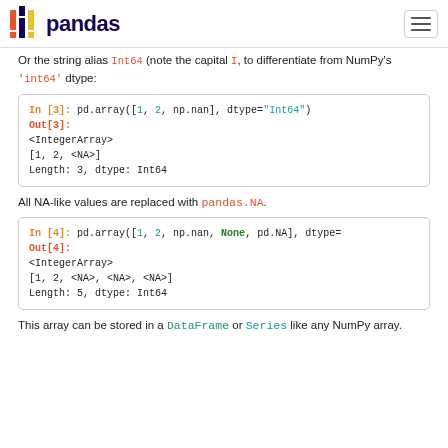pandas
Or the string alias `Int64` (note the capital `I`, to differentiate from NumPy's `'int64'` dtype:
[Figure (screenshot): Code block: In [3]: pd.array([1, 2, np.nan], dtype="Int64") Out[3]: <IntegerArray> [1, 2, <NA>] Length: 3, dtype: Int64]
All NA-like values are replaced with pandas.NA.
[Figure (screenshot): Code block: In [4]: pd.array([1, 2, np.nan, None, pd.NA], dtype=... Out[4]: <IntegerArray> [1, 2, <NA>, <NA>, <NA>] Length: 5, dtype: Int64]
This array can be stored in a DataFrame or Series like any NumPy array.